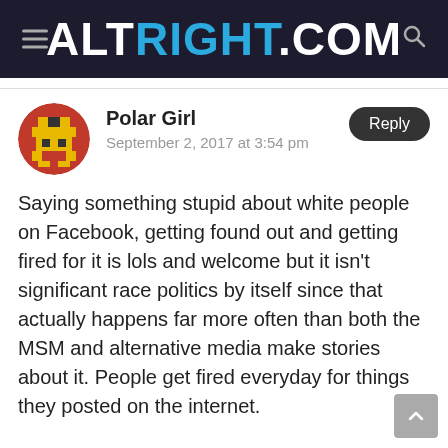ALTRIGHT.COM
Polar Girl
September 2, 2017 at 3:54 pm
Saying something stupid about white people on Facebook, getting found out and getting fired for it is lols and welcome but it isn’t significant race politics by itself since that actually happens far more often than both the MSM and alternative media make stories about it. People get fired everyday for things they posted on the internet.
The political harassment developing